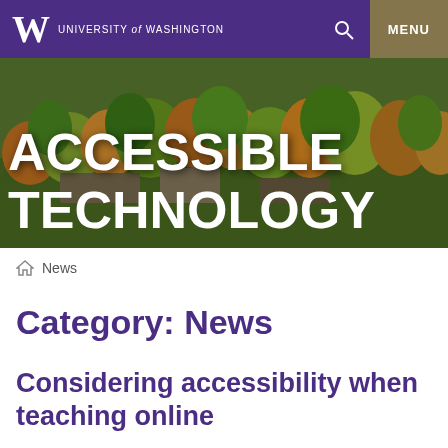University of Washington — Accessible Technology
[Figure (photo): Aerial photo of University of Washington campus with autumn-colored trees overlaid with large white text reading ACCESSIBLE TECHNOLOGY]
ACCESSIBLE TECHNOLOGY
Home > News
Category: News
Considering accessibility when teaching online